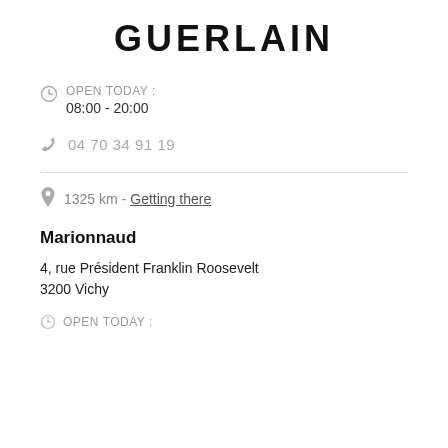GUERLAIN
OPEN TODAY : 08:00 - 20:00
04 70 34 91 19
1325 km - Getting there
Marionnaud
4, rue Président Franklin Roosevelt
3200 Vichy
OPEN TODAY :